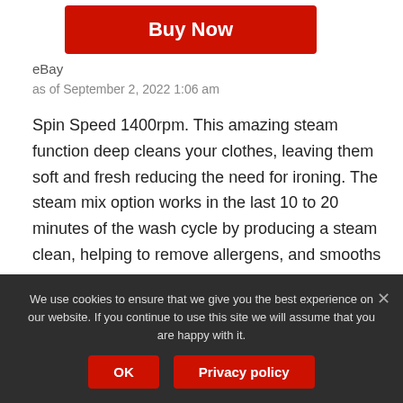[Figure (other): Red 'Buy Now' button]
eBay
as of September 2, 2022 1:06 am
Spin Speed 1400rpm. This amazing steam function deep cleans your clothes, leaving them soft and fresh reducing the need for ironing. The steam mix option works in the last 10 to 20 minutes of the wash cycle by producing a steam clean, helping to remove allergens, and smooths the fabric in such a way that there is almost no need for ironing.
We use cookies to ensure that we give you the best experience on our website. If you continue to use this site we will assume that you are happy with it.
OK
Privacy policy